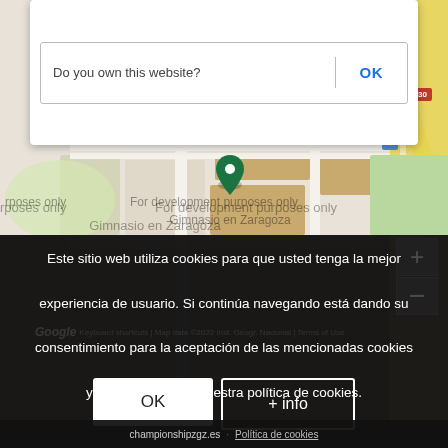[Figure (screenshot): Google Maps screenshot showing Porches del Audiorama Shopping mall area in Zaragoza with 'For development purposes only' watermark overlay and a dialog box asking 'Do you own this website?' with an OK button]
Este sitio web utiliza cookies para que usted tenga la mejor experiencia de usuario. Si continúa navegando está dando su consentimiento para la aceptación de las mencionadas cookies y la aceptación de nuestra política de cookies.
OK
+ info
championshipzgz.es  Política de cookies